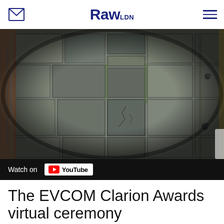Raw LDN
[Figure (screenshot): Aerial/top-down fisheye camera view of stone pavement/paving slabs with moss in cracks, taken from above a building entrance. Left edge shows railing or structure. Right edge has yellow line or kerb. Video embedded with YouTube player bar at bottom showing 'Watch on YouTube' button.]
The EVCOM Clarion Awards virtual ceremony